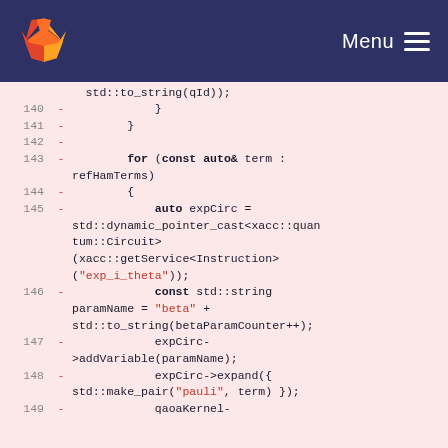GitLab — Menu
Code diff view showing lines 140-149 of a C++ source file with changes involving for loop over refHamTerms, expCirc dynamic pointer cast, paramName = beta + std::to_string(betaParamCounter++), expCirc->addVariable, expCirc->expand with pauli, and qaoaKernel